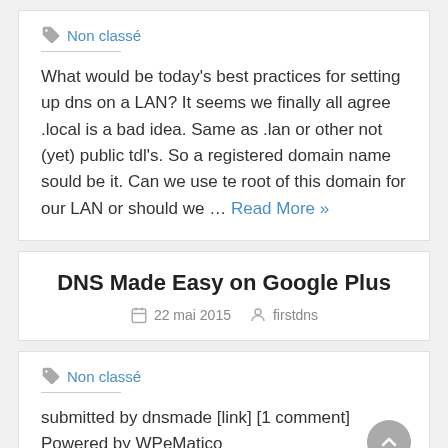Non classé
What would be today's best practices for setting up dns on a LAN? It seems we finally all agree .local is a bad idea. Same as .lan or other not (yet) public tdl's. So a registered domain name sould be it. Can we use te root of this domain for our LAN or should we ... Read More »
DNS Made Easy on Google Plus
22 mai 2015   firstdns
Non classé
submitted by dnsmade [link] [1 comment] Powered by WPeMatico